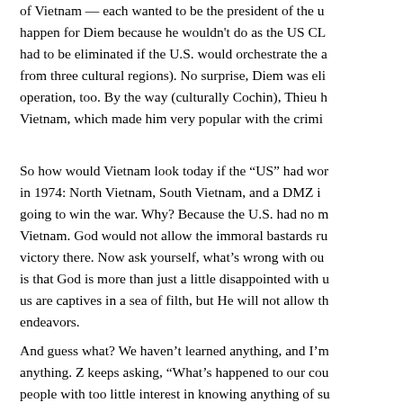of Vietnam — each wanted to be the president of the u... happen for Diem because he wouldn't do as the US CLA... had to be eliminated if the U.S. would orchestrate the a... from three cultural regions). No surprise, Diem was eli... operation, too. By the way (culturally Cochin), Thieu h... Vietnam, which made him very popular with the crimi...
So how would Vietnam look today if the "US" had wor... in 1974: North Vietnam, South Vietnam, and a DMZ i... going to win the war. Why? Because the U.S. had no m... Vietnam. God would not allow the immoral bastards ru... victory there. Now ask yourself, what's wrong with our... is that God is more than just a little disappointed with u... us are captives in a sea of filth, but He will not allow th... endeavors.
And guess what? We haven't learned anything, and I'm... anything. Z keeps asking, "What's happened to our cou... people with too little interest in knowing anything of su...